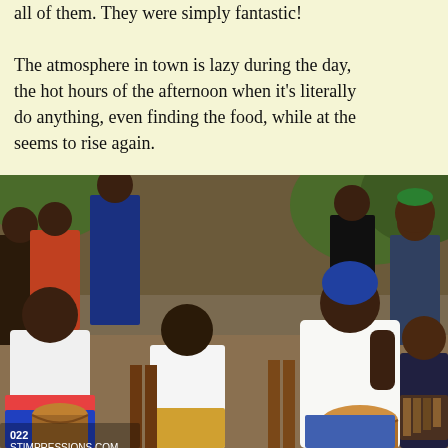all of them. They were simply fantastic! The atmosphere in town is lazy during the day, the hot hours of the afternoon when it's literally do anything, even finding the food, while at the seems to rise again.
[Figure (photo): Group of people outdoors, several playing djembe drums and percussion instruments. Two men in the foreground in white tank tops are playing drums. A crowd watches in the background near trees. Watermark shows '022' and 'STIMPRESSIONS.COM'.]